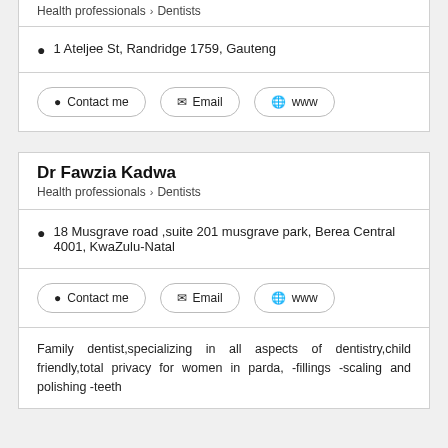Health professionals > Dentists
1 Ateljee St, Randridge 1759, Gauteng
Contact me | Email | www
Dr Fawzia Kadwa
Health professionals > Dentists
18 Musgrave road ,suite 201 musgrave park, Berea Central 4001, KwaZulu-Natal
Contact me | Email | www
Family dentist,specializing in all aspects of dentistry,child friendly,total privacy for women in parda, -fillings -scaling and polishing -teeth